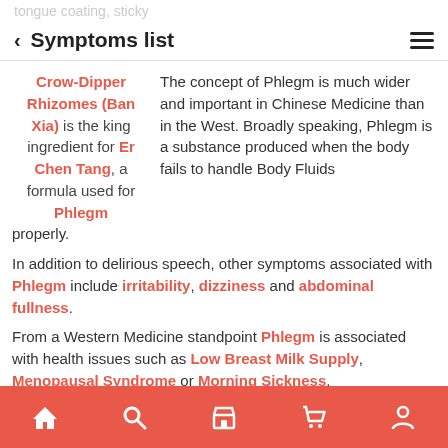< Symptoms list
Crow-Dipper Rhizomes (Ban Xia) is the king ingredient for Er Chen Tang, a formula used for Phlegm
The concept of Phlegm is much wider and important in Chinese Medicine than in the West. Broadly speaking, Phlegm is a substance produced when the body fails to handle Body Fluids properly.
In addition to delirious speech, other symptoms associated with Phlegm include irritability, dizziness and abdominal fullness.
From a Western Medicine standpoint Phlegm is associated with health issues such as Low Breast Milk Supply, Menopausal Syndrome or Morning Sickness.
Phlegm is often treated with Er Chen Tang, a...
Home | Search | Store | Cart | Profile